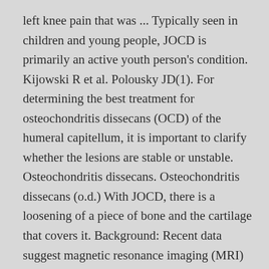left knee pain that was ... Typically seen in children and young people, JOCD is primarily an active youth person's condition. Kijowski R et al. Polousky JD(1). For determining the best treatment for osteochondritis dissecans (OCD) of the humeral capitellum, it is important to clarify whether the lesions are stable or unstable. Osteochondritis dissecans. Osteochondritis dissecans (o.d.) With JOCD, there is a loosening of a piece of bone and the cartilage that covers it. Background: Recent data suggest magnetic resonance imaging (MRI) is the best method to analyze the status of the cartilage and subchondral bone in patients with juvenile osteochondritis dissecans (JOCD).